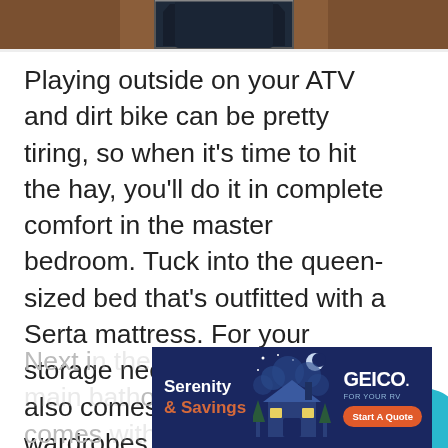[Figure (photo): Top portion of a bedroom photo showing a wood-paneled wall with an octagonal window, partially visible]
Playing outside on your ATV and dirt bike can be pretty tiring, so when it’s time to hit the hay, you’ll do it in complete comfort in the master bedroom. Tuck into the queen-sized bed that’s outfitted with a Serta mattress. For your storage needs, the bedroom also comes with two bedside wardrobes that are great for keeping clothes out of the way.
Next i the bedroom, there’s the main bath oom. it comes ake life ea ub comb
[Figure (other): GEICO advertisement banner with dark blue background, showing a house illustration with text 'Serenity & Savings' on the left and 'GEICO. FOR YOUR RV' with a 'Start A Quote' button on the right]